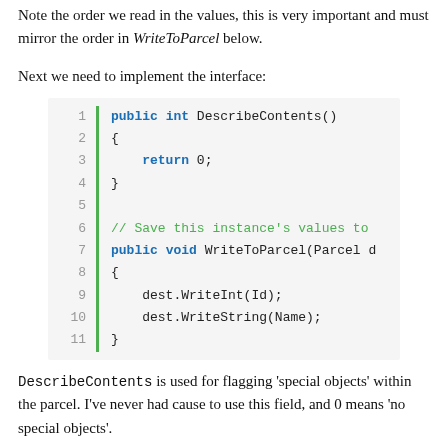Note the order we read in the values, this is very important and must mirror the order in WriteToParcel below.
Next we need to implement the interface:
[Figure (screenshot): Code block showing C# implementation of DescribeContents() and WriteToParcel() methods with line numbers 1-11 and a green vertical bar on the left.]
DescribeContents is used for flagging 'special objects' within the parcel. I've never had cause to use this field, and 0 means 'no special objects'.
WriteToParcel is where we write the instance data to the parcel, pay special attention to the order you write the values. This same order must be mirrored